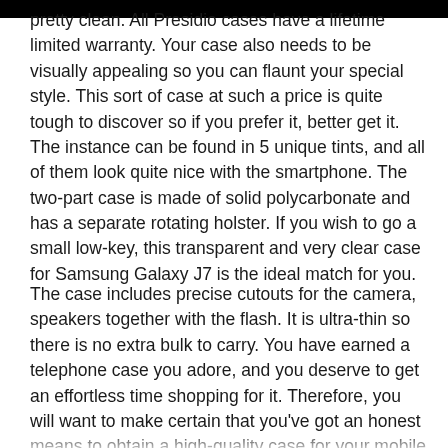pretty clean. All Presidio cases have a lifetime limited warranty. Your case also needs to be visually appealing so you can flaunt your special style. This sort of case at such a price is quite tough to discover so if you prefer it, better get it. The instance can be found in 5 unique tints, and all of them look quite nice with the smartphone. The two-part case is made of solid polycarbonate and has a separate rotating holster. If you wish to go a small low-key, this transparent and very clear case for Samsung Galaxy J7 is the ideal match for you.
The case includes precise cutouts for the camera, speakers together with the flash. It is ultra-thin so there is no extra bulk to carry. You have earned a telephone case you adore, and you deserve to get an effortless time shopping for it. Therefore, you will want to make certain that you've got an honest means to obtain a high-quality case for your mobile phone. If you're interested in